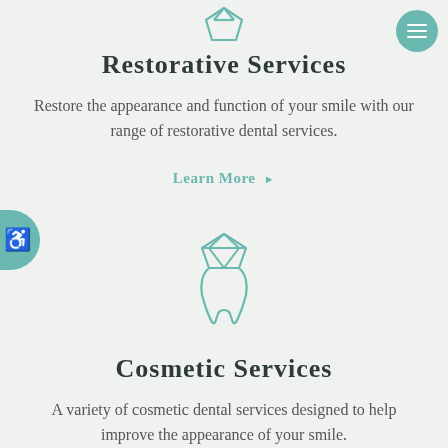[Figure (illustration): Teal outline icon of a dental crown/tooth shape at top center]
Restorative Services
Restore the appearance and function of your smile with our range of restorative dental services.
Learn More ▶
[Figure (illustration): Teal outline icon of a diamond gem above a tooth for Cosmetic Services]
Cosmetic Services
A variety of cosmetic dental services designed to help improve the appearance of your smile.
Learn More ▶